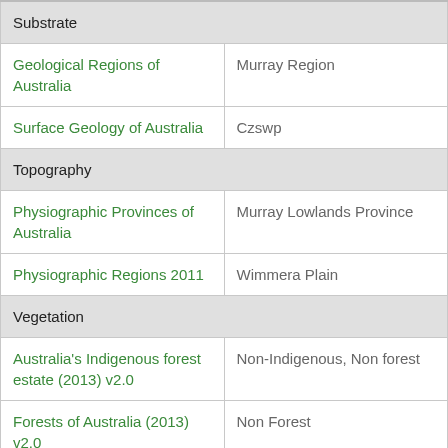| Category | Value |
| --- | --- |
| Substrate |  |
| Geological Regions of Australia | Murray Region |
| Surface Geology of Australia | Czswp |
| Topography |  |
| Physiographic Provinces of Australia | Murray Lowlands Province |
| Physiographic Regions 2011 | Wimmera Plain |
| Vegetation |  |
| Australia's Indigenous forest estate (2013) v2.0 | Non-Indigenous, Non forest |
| Forests of Australia (2013) v2.0 | Non Forest |
| Forests of Australia 2018B | Non forest |
| IGBP Land Cover vegetation classification scheme (2011) | Croplands |